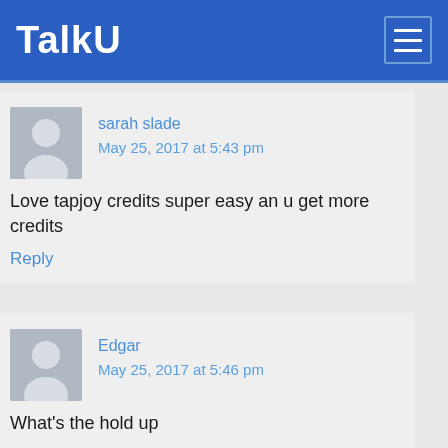TalkU
sarah slade
May 25, 2017 at 5:43 pm
Love tapjoy credits super easy an u get more credits
Reply
Edgar
May 25, 2017 at 5:46 pm
What's the hold up
Reply